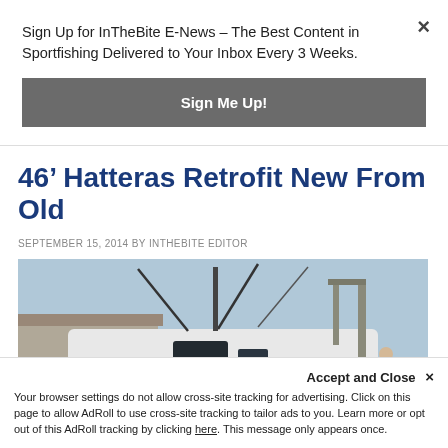Sign Up for InTheBite E-News – The Best Content in Sportfishing Delivered to Your Inbox Every 3 Weeks.
Sign Me Up!
46’ Hatteras Retrofit New From Old
SEPTEMBER 15, 2014 BY INTHEBITE EDITOR
[Figure (photo): Photo of a white sportfishing boat (Hatteras) in a boatyard, elevated on stands, with a person visible on the right side and a building structure in the background.]
Accept and Close ×
Your browser settings do not allow cross-site tracking for advertising. Click on this page to allow AdRoll to use cross-site tracking to tailor ads to you. Learn more or opt out of this AdRoll tracking by clicking here. This message only appears once.